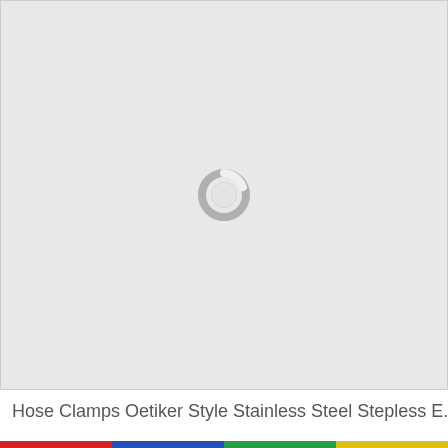[Figure (other): Loading spinner icon centered on a light gray background, indicating an image that is still loading]
Hose Clamps Oetiker Style Stainless Steel Stepless E...